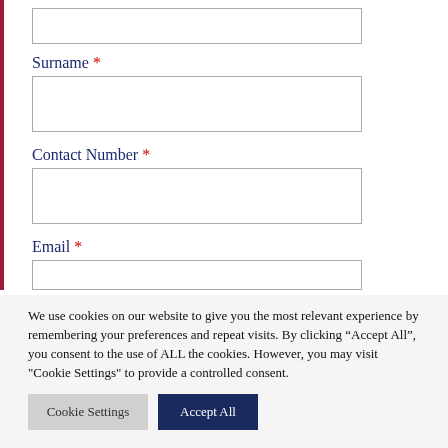(input box — top, partially visible)
Surname *
(surname input box)
Contact Number *
(contact number input box)
Email *
(email input box — partially visible)
We use cookies on our website to give you the most relevant experience by remembering your preferences and repeat visits. By clicking “Accept All”, you consent to the use of ALL the cookies. However, you may visit "Cookie Settings" to provide a controlled consent.
Cookie Settings
Accept All